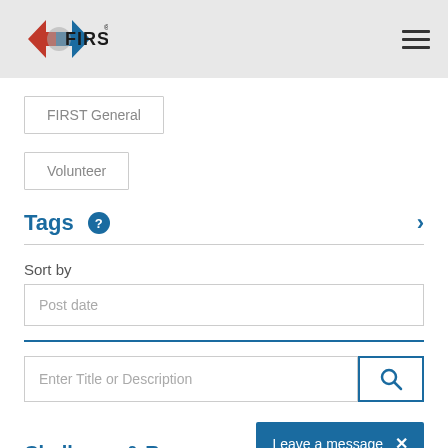FIRST (logo and navigation)
FIRST General
Volunteer
Tags
Sort by
Post date
Enter Title or Description
Challenge & Resources
Leave a message